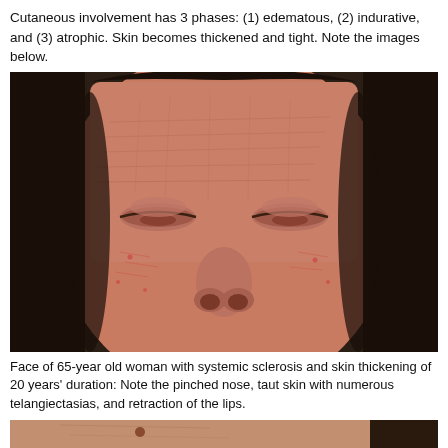Cutaneous involvement has 3 phases: (1) edematous, (2) indurative, and (3) atrophic. Skin becomes thickened and tight. Note the images below.
[Figure (photo): Close-up photograph of the face of a 65-year-old woman with systemic sclerosis, showing thickened, taut skin with numerous telangiectasias, pinched nose, and retraction of the lips. Eyes are closed.]
Face of 65-year old woman with systemic sclerosis and skin thickening of 20 years' duration: Note the pinched nose, taut skin with numerous telangiectasias, and retraction of the lips.
[Figure (photo): Partial photograph showing the lower face/chin area of a patient with systemic sclerosis, with visible skin changes and telangiectasias.]